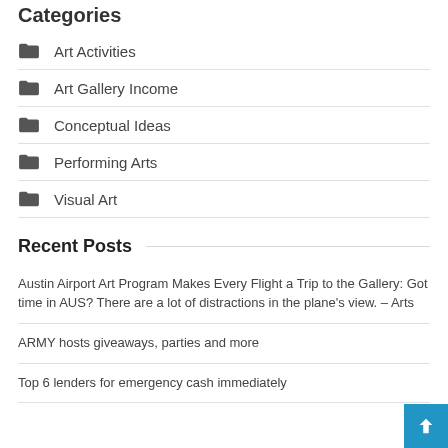Categories
Art Activities
Art Gallery Income
Conceptual Ideas
Performing Arts
Visual Art
Recent Posts
Austin Airport Art Program Makes Every Flight a Trip to the Gallery: Got time in AUS? There are a lot of distractions in the plane's view. – Arts
ARMY hosts giveaways, parties and more
Top 6 lenders for emergency cash immediately